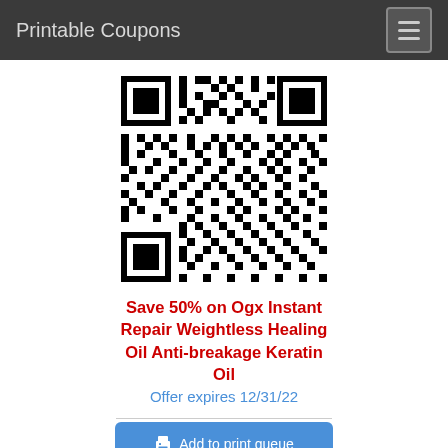Printable Coupons
[Figure (other): QR code for coupon redemption of Ogx Instant Repair Weightless Healing Oil Anti-breakage Keratin Oil]
Save 50% on Ogx Instant Repair Weightless Healing Oil Anti-breakage Keratin Oil
Offer expires 12/31/22
Add to print queue